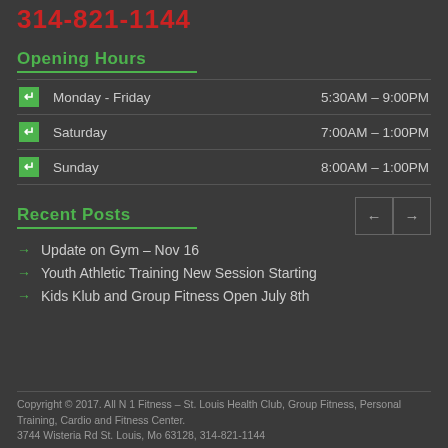314-821-1144
Opening Hours
|  | Day | Hours |
| --- | --- | --- |
|  | Monday - Friday | 5:30AM – 9:00PM |
|  | Saturday | 7:00AM – 1:00PM |
|  | Sunday | 8:00AM – 1:00PM |
Recent Posts
Update on Gym – Nov 16
Youth Athletic Training New Session Starting
Kids Klub and Group Fitness Open July 8th
Copyright © 2017. All N 1 Fitness – St. Louis Health Club, Group Fitness, Personal Training, Cardio and Fitness Center. 3744 Wisteria Rd St. Louis, Mo 63128, 314-821-1144